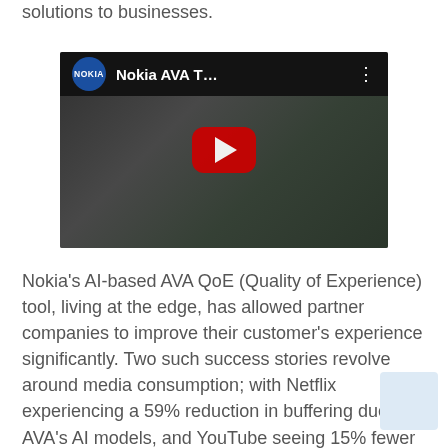solutions to businesses.
[Figure (screenshot): YouTube-style video thumbnail showing Nokia AVA T... video with Nokia logo circle, red play button, and dark overlay with people in background.]
Nokia's AI-based AVA QoE (Quality of Experience) tool, living at the edge, has allowed partner companies to improve their customer's experience significantly. Two such success stories revolve around media consumption; with Netflix experiencing a 59% reduction in buffering due to AVA's AI models, and YouTube seeing 15% fewer sessions with playback issues.